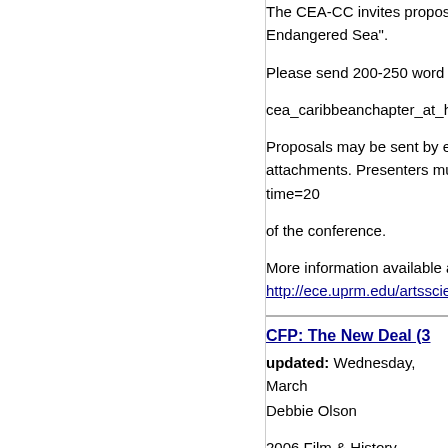The CEA-CC invites proposals Endangered Sea". Please send 200-250 word pr cea_caribbeanchapter_at_hot Proposals may be sent by em attachments. Presenters mus time=20 of the conference.
More information available at http://ece.uprm.edu/artsscie
CFP: The New Deal (3
updated: Wednesday, March
Debbie Olson
2006 Film & History League C
The Documentary Tradition